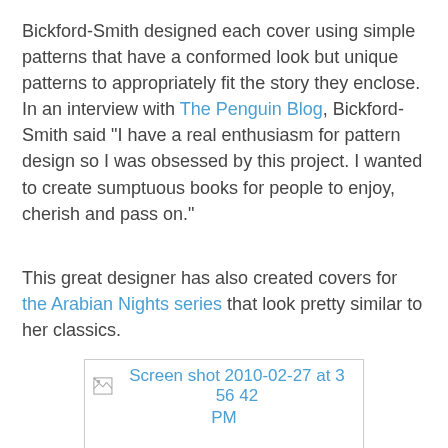Bickford-Smith designed each cover using simple patterns that have a conformed look but unique patterns to appropriately fit the story they enclose. In an interview with The Penguin Blog, Bickford-Smith said "I have a real enthusiasm for pattern design so I was obsessed by this project. I wanted to create sumptuous books for people to enjoy, cherish and pass on."
This great designer has also created covers for the Arabian Nights series that look pretty similar to her classics.
[Figure (screenshot): Broken image placeholder showing 'Screen shot 2010-02-27 at 3 56 42 PM' with a broken image icon]